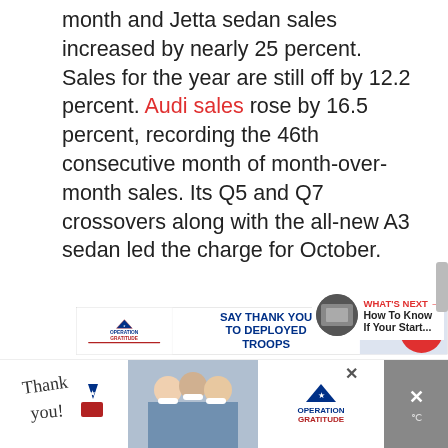month and Jetta sedan sales increased by nearly 25 percent. Sales for the year are still off by 12.2 percent. Audi sales rose by 16.5 percent, recording the 46th consecutive month of month-over-month sales. Its Q5 and Q7 crossovers along with the all-new A3 sedan led the charge for October.
[Figure (screenshot): Advertisement banner for Operation Gratitude - 'SAY THANK YOU TO DEPLOYED TROOPS']
[Figure (screenshot): Bottom advertisement banner for Operation Gratitude showing healthcare workers and thank you message]